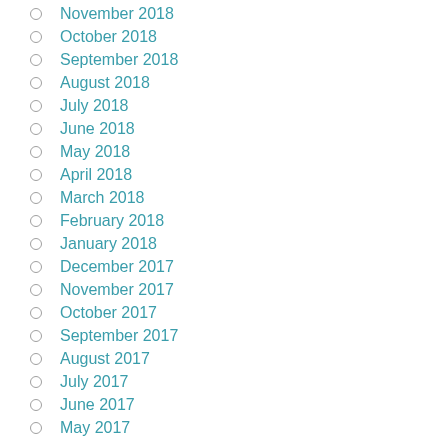November 2018
October 2018
September 2018
August 2018
July 2018
June 2018
May 2018
April 2018
March 2018
February 2018
January 2018
December 2017
November 2017
October 2017
September 2017
August 2017
July 2017
June 2017
May 2017